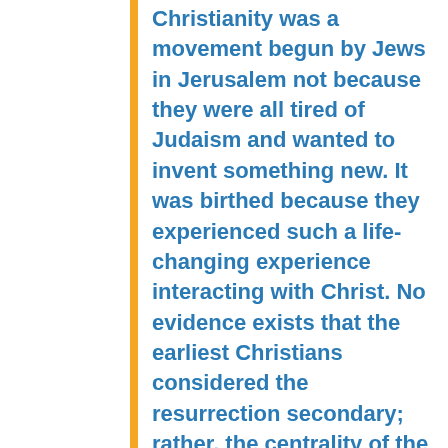Christianity was a movement begun by Jews in Jerusalem not because they were all tired of Judaism and wanted to invent something new. It was birthed because they experienced such a life-changing experience interacting with Christ. No evidence exists that the earliest Christians considered the resurrection secondary; rather, the centrality of the resurrection in the earliest creeds, which pre-date the New Testament books (for example, Romans 1:3-4, 4:24-25; 1 Thessalonians 4:14; 1 Corinthians 15:3-7) shows just the opposite — that the resurrection, its historical